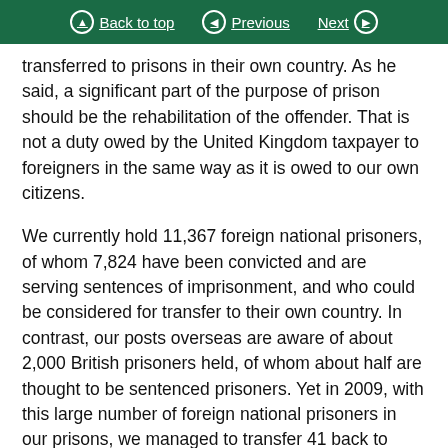Back to top | Previous | Next
transferred to prisons in their own country. As he said, a significant part of the purpose of prison should be the rehabilitation of the offender. That is not a duty owed by the United Kingdom taxpayer to foreigners in the same way as it is owed to our own citizens.
We currently hold 11,367 foreign national prisoners, of whom 7,824 have been convicted and are serving sentences of imprisonment, and who could be considered for transfer to their own country. In contrast, our posts overseas are aware of about 2,000 British prisoners held, of whom about half are thought to be sentenced prisoners. Yet in 2009, with this large number of foreign national prisoners in our prisons, we managed to transfer 41 back to prisons